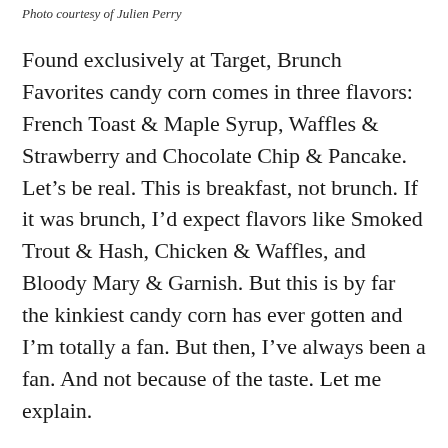Photo courtesy of Julien Perry
Found exclusively at Target, Brunch Favorites candy corn comes in three flavors: French Toast & Maple Syrup, Waffles & Strawberry and Chocolate Chip & Pancake. Let’s be real. This is breakfast, not brunch. If it was brunch, I’d expect flavors like Smoked Trout & Hash, Chicken & Waffles, and Bloody Mary & Garnish. But this is by far the kinkiest candy corn has ever gotten and I’m totally a fan. But then, I’ve always been a fan. And not because of the taste. Let me explain.
I appreciate candy corn for its no bullshit attitude. In the face of so many novelty candies, it just sits there,